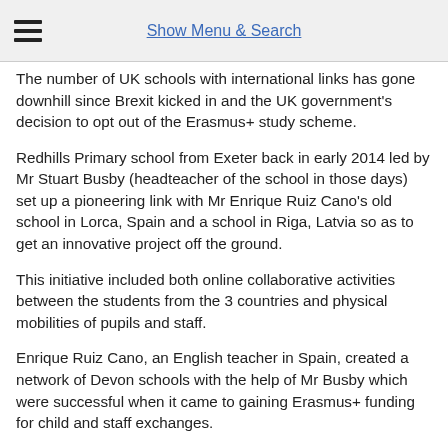Show Menu & Search
The number of UK schools with international links has gone downhill since Brexit kicked in and the UK government's decision to opt out of the Erasmus+ study scheme.
Redhills Primary school from Exeter back in early 2014 led by Mr Stuart Busby (headteacher of the school in those days) set up a pioneering link with Mr Enrique Ruiz Cano's old school in Lorca, Spain and a school in Riga, Latvia so as to get an innovative project off the ground.
This initiative included both online collaborative activities between the students from the 3 countries and physical mobilities of pupils and staff.
Enrique Ruiz Cano, an English teacher in Spain, created a network of Devon schools with the help of Mr Busby which were successful when it came to gaining Erasmus+ funding for child and staff exchanges.